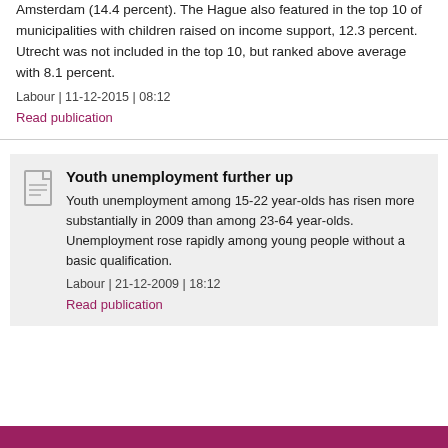were considerably higher in Rotterdam (19.2 percent), and Amsterdam (14.4 percent). The Hague also featured in the top 10 of municipalities with children raised on income support, 12.3 percent. Utrecht was not included in the top 10, but ranked above average with 8.1 percent.
Labour | 11-12-2015 | 08:12
Read publication
Youth unemployment further up
Youth unemployment among 15-22 year-olds has risen more substantially in 2009 than among 23-64 year-olds. Unemployment rose rapidly among young people without a basic qualification.
Labour | 21-12-2009 | 18:12
Read publication